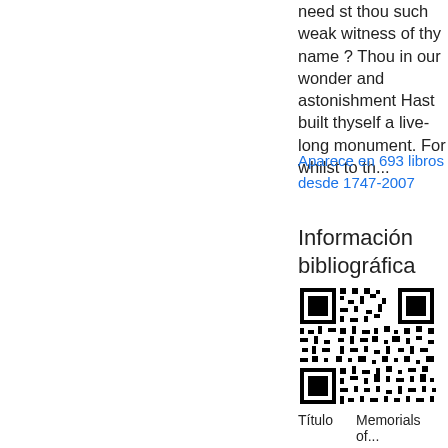need st thou such weak witness of thy name ? Thou in our wonder and astonishment Hast built thyself a live-long monument. For whilst to th...
Aparece en 693 libros desde 1747-2007
Información bibliográfica
[Figure (other): QR code]
| Título | Memorials of... |
| --- | --- |